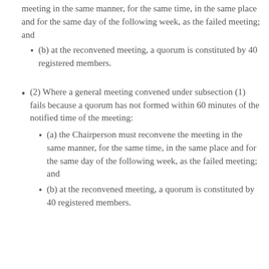meeting in the same manner, for the same time, in the same place and for the same day of the following week, as the failed meeting; and
(b) at the reconvened meeting, a quorum is constituted by 40 registered members.
(2) Where a general meeting convened under subsection (1) fails because a quorum has not formed within 60 minutes of the notified time of the meeting:
(a) the Chairperson must reconvene the meeting in the same manner, for the same time, in the same place and for the same day of the following week, as the failed meeting; and
(b) at the reconvened meeting, a quorum is constituted by 40 registered members.